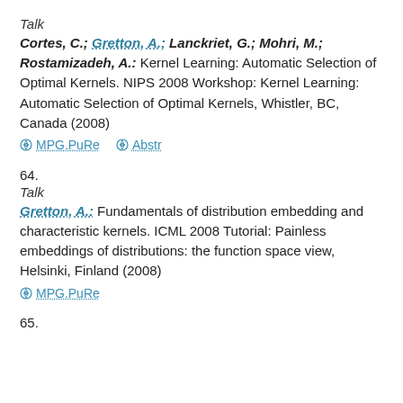Talk
Cortes, C.; Gretton, A.; Lanckriet, G.; Mohri, M.; Rostamizadeh, A.: Kernel Learning: Automatic Selection of Optimal Kernels. NIPS 2008 Workshop: Kernel Learning: Automatic Selection of Optimal Kernels, Whistler, BC, Canada (2008)
MPG.PuRe   Abstr
64.
Talk
Gretton, A.: Fundamentals of distribution embedding and characteristic kernels. ICML 2008 Tutorial: Painless embeddings of distributions: the function space view, Helsinki, Finland (2008)
MPG.PuRe
65.